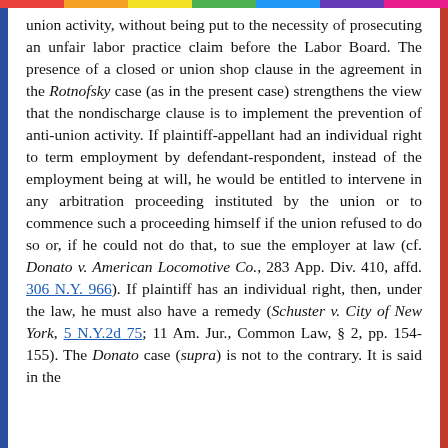union activity, without being put to the necessity of prosecuting an unfair labor practice claim before the Labor Board. The presence of a closed or union shop clause in the agreement in the Rotnofsky case (as in the present case) strengthens the view that the nondischarge clause is to implement the prevention of anti-union activity. If plaintiff-appellant had an individual right to term employment by defendant-respondent, instead of the employment being at will, he would be entitled to intervene in any arbitration proceeding instituted by the union or to commence such a proceeding himself if the union refused to do so or, if he could not do that, to sue the employer at law (cf. Donato v. American Locomotive Co., 283 App. Div. 410, affd. 306 N.Y. 966). If plaintiff has an individual right, then, under the law, he must also have a remedy (Schuster v. City of New York, 5 N.Y.2d 75; 11 Am. Jur., Common Law, § 2, pp. 154-155). The Donato case (supra) is not to the contrary. It is said in the